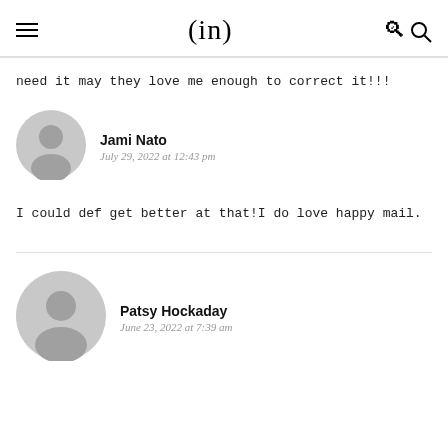(in)
need it may they love me enough to correct it!!!
Jami Nato
July 29, 2022 at 12:43 pm
I could def get better at that!I do love happy mail.
Patsy Hockaday
June 23, 2022 at 7:39 am